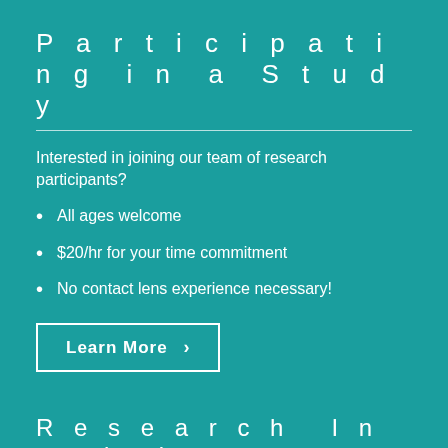Participating in a Study
Interested in joining our team of research participants?
All ages welcome
$20/hr for your time commitment
No contact lens experience necessary!
Learn More ›
Research Inquiries
Lyndon Jones | Director